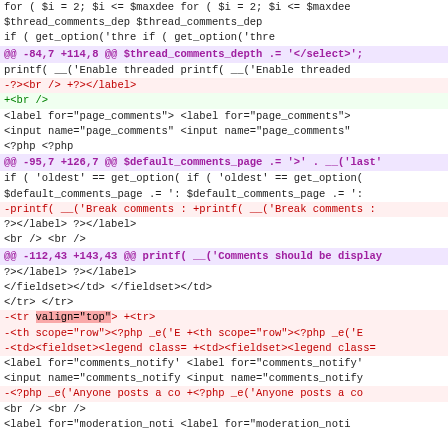for ( $i = 2; $i <= $maxdee  for ( $i = 2; $i <= $maxdee
    $thread_comments_dep         $thread_comments_dep
    if ( get_option('thre        if ( get_option('thre
@@ -84,7 +114,8 @@ $thread_comments_depth .= '</select>';
printf( __('Enable threaded  printf( __('Enable threaded
-?><br />                        +?></label>
                                 +<br />
 <label for="page_comments">  <label for="page_comments">
 <input name="page_comments"  <input name="page_comments"
 <?php                           <?php
@@ -95,7 +126,7 @@ $default_comments_page .= '>' . __('last'
if ( 'oldest' == get_option  if ( 'oldest' == get_option
 $default_comments_page .= ':  $default_comments_page .= ':
-printf( __('Break comments :+printf( __('Break comments :
?></label>                      ?></label>
 <br />                          <br />
@@ -112,43 +143,43 @@ printf( __('Comments should be display
?></label>                      ?></label>
 </fieldset></td>                </fieldset></td>
 </tr>                           </tr>
-<tr valign="top">               +<tr>
-<th scope="row"><?php _e('E  +<th scope="row"><?php _e('E
-<td><fieldset><legend class=  +<td><fieldset><legend class=
 <label for="comments_notify'  <label for="comments_notify'
 <input name="comments_notify  <input name="comments_notify
-<?php _e('Anyone posts a co  +<?php _e('Anyone posts a co
 <br />                          <br />
 <label for="moderation_noti  <label for="moderation_noti